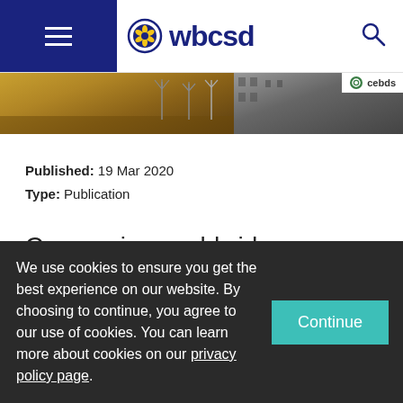wbcsd
[Figure (photo): Hero image strip showing a field with wind turbines on the left and an urban/building scene on the right, with a cebds badge in the top right corner]
Published: 19 Mar 2020
Type: Publication
Companies worldwide are seeking new ways to reduce the environmental impact
We use cookies to ensure you get the best experience on our website. By choosing to continue, you agree to our use of cookies. You can learn more about cookies on our privacy policy page.